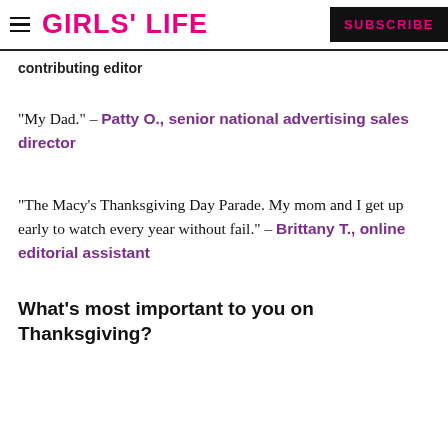GIRLS' LIFE  SUBSCRIBE
contributing editor
“My Dad.” – Patty O., senior national advertising sales director
“The Macy’s Thanksgiving Day Parade. My mom and I get up early to watch every year without fail.” – Brittany T., online editorial assistant
What’s most important to you on Thanksgiving?